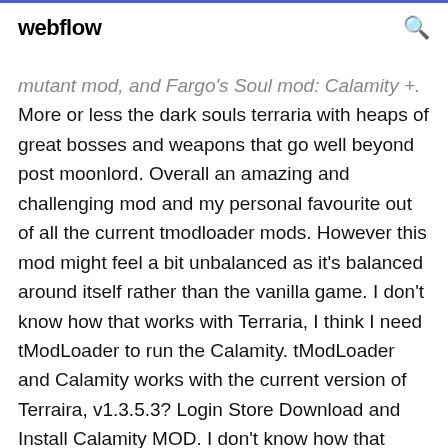webflow
mutant mod, and Fargo's Soul mod: Calamity +. More or less the dark souls terraria with heaps of great bosses and weapons that go well beyond post moonlord. Overall an amazing and challenging mod and my personal favourite out of all the current tmodloader mods. However this mod might feel a bit unbalanced as it's balanced around itself rather than the vanilla game. I don't know how that works with Terraria, I think I need tModLoader to run the Calamity. tModLoader and Calamity works with the current version of Terraira, v1.3.5.3? Login Store Download and Install Calamity MOD. I don't know how that works with Terraria, I think I need tModLoader to run the Calamity. About